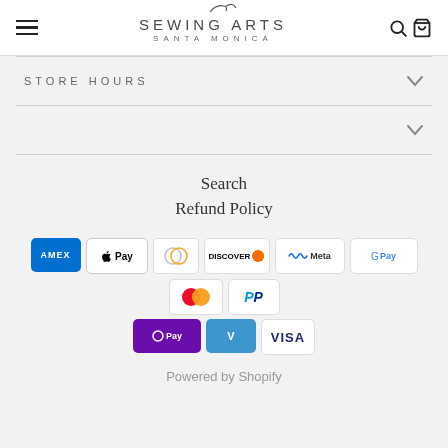Sewing Arts Santa Monica
STORE HOURS
Search
Refund Policy
[Figure (other): Payment method icons: American Express, Apple Pay, Diners Club, Discover, Meta Pay, Google Pay, Mastercard, PayPal, OPay, Venmo, Visa]
Powered by Shopify